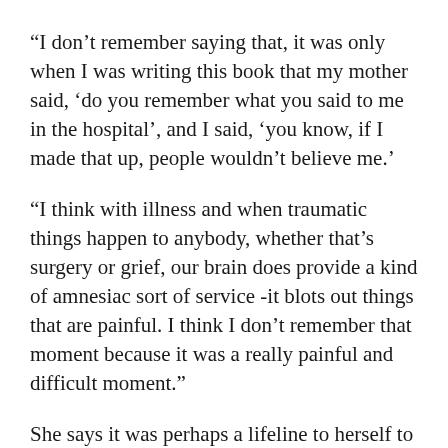“I don’t remember saying that, it was only when I was writing this book that my mother said, ‘do you remember what you said to me in the hospital’, and I said, ‘you know, if I made that up, people wouldn’t believe me.’
“I think with illness and when traumatic things happen to anybody, whether that’s surgery or grief, our brain does provide a kind of amnesiac sort of service -it blots out things that are painful. I think I don’t remember that moment because it was a really painful and difficult moment.”
She says it was perhaps a lifeline to herself to plant that flag in the sand and establish a firm goal.
Mortality, Gleeson says, is a major theme of the book. She’s interested in what constitutes a long life, or a good life.